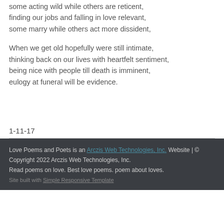some acting wild while others are reticent,
finding our jobs and falling in love relevant,
some marry while others act more dissident,
When we get old hopefully were still intimate,
thinking back on our lives with heartfelt sentiment,
being nice with people till death is imminent,
eulogy at funeral will be evidence.
1-11-17
Love Poems and Poets is an Arczis Web Technologies, Inc. Website | © Copyright 2022 Arczis Web Technologies, Inc.
Read poems on love. Best love poems. poem about loves.
Site built with Simple Responsive Template